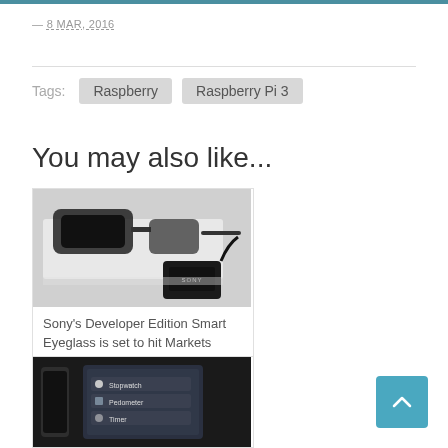— 8 MAR, 2016
Tags: Raspberry  Raspberry Pi 3
You may also like...
[Figure (photo): Sony smart eyeglass / Developer Edition Smart Eyeglass on a surface with a Sony dongle attached]
Sony's Developer Edition Smart Eyeglass is set to hit Markets
[Figure (photo): Dark background showing a smartwatch or device with screen displaying Stopwatch, Pedometer, and Timer options]